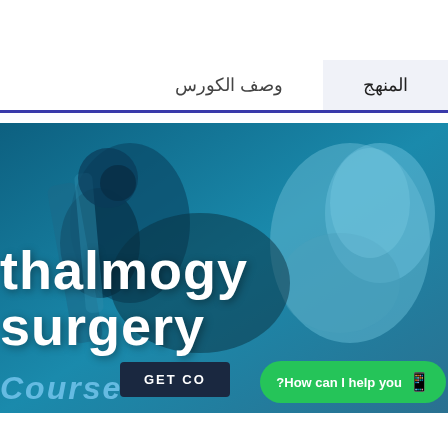وصف الكورس  |  المنهج
[Figure (photo): Medical/ophthalmology course promotional image with surgical instruments and a surgeon in blue tones. Large white bold text reading 'thalmogy surgery' overlaid on the image, with 'Course' in light blue italic below, and a dark navy 'GET CO...' button and green WhatsApp chat button in the lower area.]